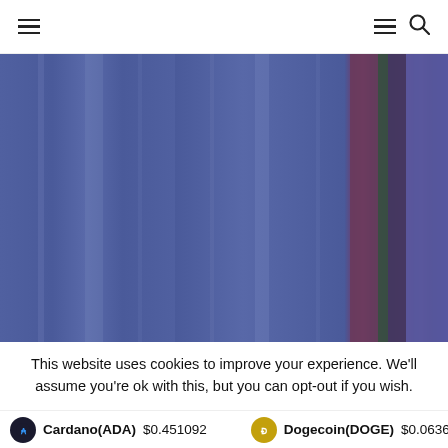Navigation header with hamburger menu and search icon
[Figure (continuous-plot): A vertical bar/area chart showing data in shades of blue, with blue dominant on the left side transitioning to darker purple, mauve, dark teal, and violet tones on the right side. The chart appears to be a cryptocurrency or financial data visualization with vertical color bands of varying widths.]
This website uses cookies to improve your experience. We'll assume you're ok with this, but you can opt-out if you wish.
Cardano(ADA) $0.451092   Dogecoin(DOGE) $0.063698